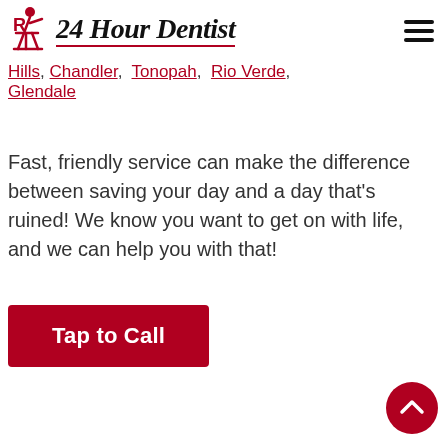24 Hour Dentist
Hills, Chandler, Tonopah, Rio Verde, Glendale
Fast, friendly service can make the difference between saving your day and a day that's ruined! We know you want to get on with life, and we can help you with that!
Tap to Call